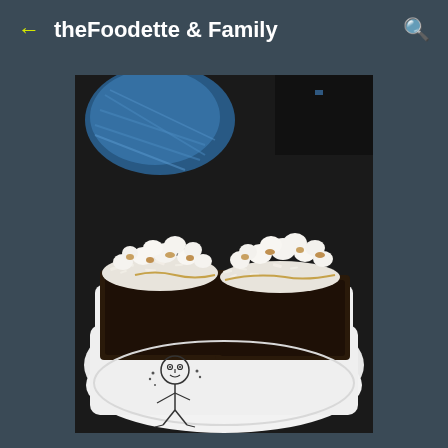theFoodette & Family
[Figure (photo): Two brownies topped with marshmallows, shredded coconut, and nuts served on a white rectangular plate with a cartoon character printed on it. A blue decorative object is visible in the upper left background against a dark background.]